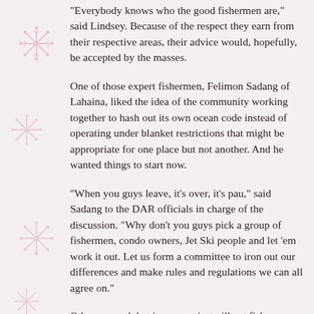"Everybody knows who the good fishermen are," said Lindsey. Because of the respect they earn from their respective areas, their advice would, hopefully, be accepted by the masses.
One of those expert fishermen, Felimon Sadang of Lahaina, liked the idea of the community working together to hash out its own ocean code instead of operating under blanket restrictions that might be appropriate for one place but not another. And he wanted things to start now.
"When you guys leave, it's over, it's pau," said Sadang to the DAR officials in charge of the discussion. "Why don't you guys pick a group of fishermen, condo owners, Jet Ski people and let 'em work it out. Let us form a committee to iron out our differences and make rules and regulations we can all agree on."
Others agreed that it was not just gill net fishermen who could be causing a depletion of fish. A host of culprits emerged over the night: windsurfers, kitesurfers, insensitive and greedy newcomers, companies renting personal watercraft, developers who cause runoff and tour...